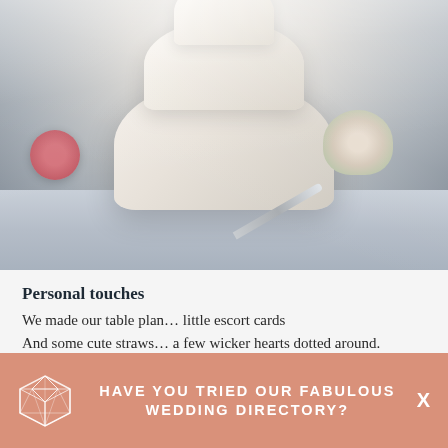[Figure (photo): Wedding cake with veil draped over it, flowers on left and right sides, knife on white tablecloth, bluish-gray background]
Personal touches
We made our table plan… little escort cards
And some cute straws… a few wicker hearts dotted around.
We made all the stationary for the day (menus, table names,
HAVE YOU TRIED OUR FABULOUS WEDDING DIRECTORY?